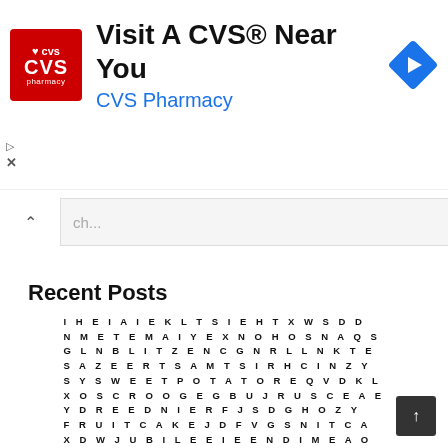[Figure (infographic): CVS Pharmacy advertisement banner with red CVS logo, text 'Visit A CVS® Near You', 'CVS Pharmacy' in blue, and a blue navigation diamond icon]
ch...
Recent Posts
[Figure (other): Word search puzzle grid with letters arranged in rows and columns]
↑